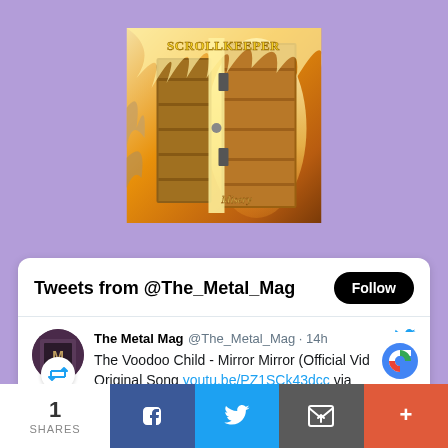[Figure (illustration): Album art for Scrollkeeper - Misery. Shows a burning door with the band name 'Scrollkeeper' in gold letters at the top and 'Misery' text visible at the bottom. Fiery orange and brown tones.]
[Figure (screenshot): Twitter widget showing 'Tweets from @The_Metal_Mag' with a Follow button. Below is a tweet from The Metal Mag @The_Metal_Mag posted 14h ago: 'The Voodoo Child - Mirror Mirror (Official Video) - Original Song youtu.be/PZ1SCk43dcc via @YouTube'. Avatar shows a dark image. A retweet icon is visible below the avatar. A partial image preview is visible at the bottom of the tweet.]
Tweets from @The_Metal_Mag
Follow
The Metal Mag @The_Metal_Mag · 14h
The Voodoo Child - Mirror Mirror (Official Video) - Original Song youtu.be/PZ1SCk43dcc via @YouTube
1 SHARES